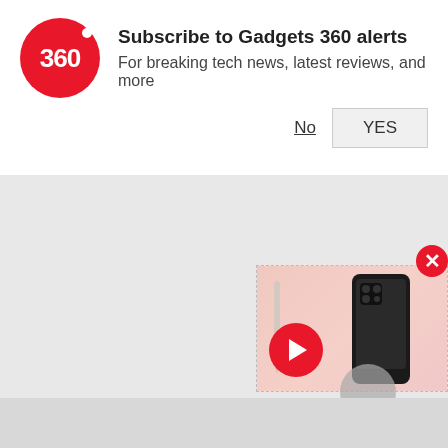[Figure (screenshot): Gadgets 360 subscription notification prompt with red circular logo showing '360', bold title 'Subscribe to Gadgets 360 alerts', subtitle 'For breaking tech news, latest reviews, and more', with 'No' (underlined) and 'YES' buttons on the right]
Subscribe to Gadgets 360 alerts
For breaking tech news, latest reviews, and more
[Figure (screenshot): Video thumbnail popup in bottom-right corner showing a black Android smartphone on a pink/rose background with a red play button overlay, and a red X close button in the top-right corner of the popup]